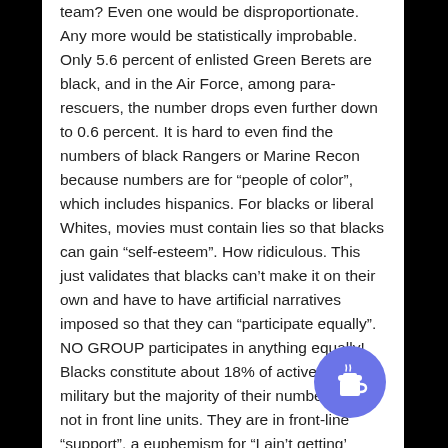team? Even one would be disproportionate. Any more would be statistically improbable. Only 5.6 percent of enlisted Green Berets are black, and in the Air Force, among para-rescuers, the number drops even further down to 0.6 percent. It is hard to even find the numbers of black Rangers or Marine Recon because numbers are for “people of color”, which includes hispanics. For blacks or liberal Whites, movies must contain lies so that blacks can gain “self-esteem”. How ridiculous. This just validates that blacks can’t make it on their own and have to have artificial narratives imposed so that they can “participate equally”. NO GROUP participates in anything equally! Blacks constitute about 18% of active duty military but the majority of their numbers are not in front line units. They are in front-line “support”, a euphemism for “I ain’t getting’
[Figure (illustration): Blue circular button with a coffee cup icon (Buy Me a Coffee style widget)]